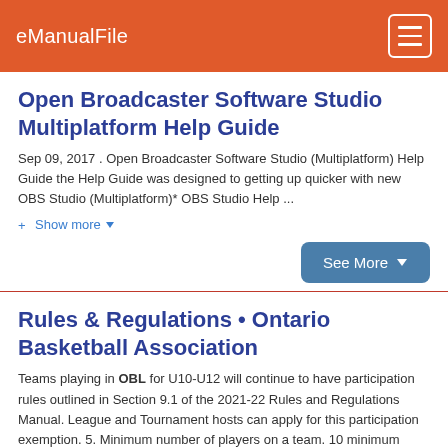eManualFile
Open Broadcaster Software Studio Multiplatform Help Guide
Sep 09, 2017 . Open Broadcaster Software Studio (Multiplatform) Help Guide the Help Guide was designed to getting up quicker with new OBS Studio (Multiplatform)* OBS Studio Help ...
+ Show more ▾
See More ▾
Rules & Regulations • Ontario Basketball Association
Teams playing in OBL for U10-U12 will continue to have participation rules outlined in Section 9.1 of the 2021-22 Rules and Regulations Manual. League and Tournament hosts can apply for this participation exemption. 5. Minimum number of players on a team. 10 minimum players per team and 15